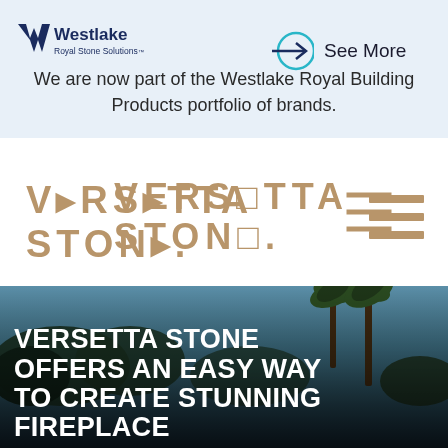[Figure (logo): Westlake Royal Stone Solutions logo — stylized W mark in dark navy with 'Westlake' in dark navy and 'Royal Stone Solutions' in smaller text beneath]
[Figure (logo): See More button — dark navy arrow pointing right into a teal circle, with text 'See More' to the right]
We are now part of the Westlake Royal Building Products portfolio of brands.
[Figure (logo): Versetta Stone logo in tan/gold letterforms with decorative notched letters, plus hamburger menu icon (three horizontal lines) in tan on the right]
[Figure (photo): Outdoor scene with palm trees and shrubs against a blue-grey sky, with large white bold headline text overlay]
VERSETTA STONE OFFERS AN EASY WAY TO CREATE STUNNING FIREPLACE